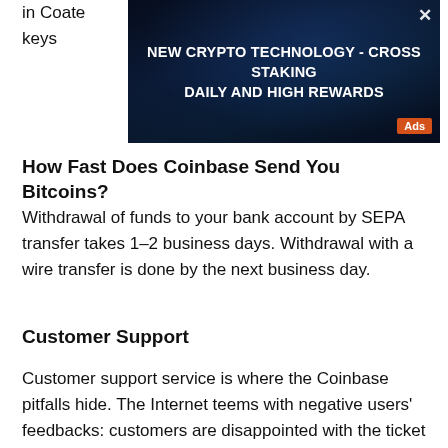in Co...ate keys...
[Figure (screenshot): Dark-themed advertisement banner: NEW CRYPTO TECHNOLOGY - CROSS STAKING DAILY AND HIGH REWARDS, with Ads badge and close button]
How Fast Does Coinbase Send You Bitcoins?
Withdrawal of funds to your bank account by SEPA transfer takes 1–2 business days. Withdrawal with a wire transfer is done by the next business day.
Customer Support
Customer support service is where the Coinbase pitfalls hide. The Internet teems with negative users' feedbacks: customers are disappointed with the ticket system and support agents — they have to wait for an answer for weeks.